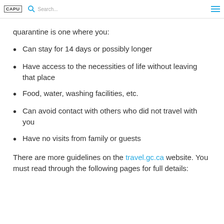CAPU [search icon] [menu icon]
quarantine is one where you:
Can stay for 14 days or possibly longer
Have access to the necessities of life without leaving that place
Food, water, washing facilities, etc.
Can avoid contact with others who did not travel with you
Have no visits from family or guests
There are more guidelines on the travel.gc.ca website. You must read through the following pages for full details: